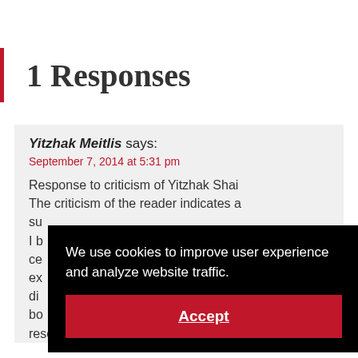1 Responses
Yitzhak Meitlis says:
September 7, 2014 at 5:31 pm
Response to criticism of Yitzhak Shai
The criticism of the reader indicates a su...
I b... ce... ex... di... bo...
research that was made in Babylon and the
We use cookies to improve user experience and analyze website traffic.
Accept